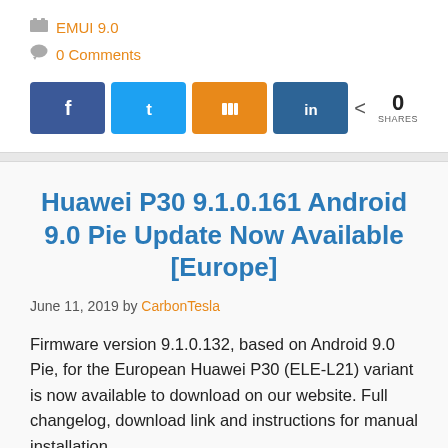EMUI 9.0
0 Comments
[Figure (infographic): Social share buttons: Facebook, Twitter, Mix, LinkedIn, with 0 SHARES count]
Huawei P30 9.1.0.161 Android 9.0 Pie Update Now Available [Europe]
June 11, 2019 by CarbonTesla
Firmware version 9.1.0.132, based on Android 9.0 Pie, for the European Huawei P30 (ELE-L21) variant is now available to download on our website. Full changelog, download link and instructions for manual installation